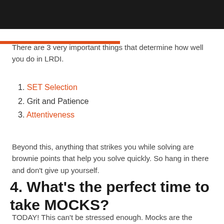[Figure (other): Dark banner image at top of page]
There are 3 very important things that determine how well you do in LRDI.
1. SET Selection
2. Grit and Patience
3. Attentiveness
Beyond this, anything that strikes you while solving are brownie points that help you solve quickly. So hang in there and don't give up yourself.
4. What's the perfect time to take MOCKS?
TODAY! This can't be stressed enough. Mocks are the